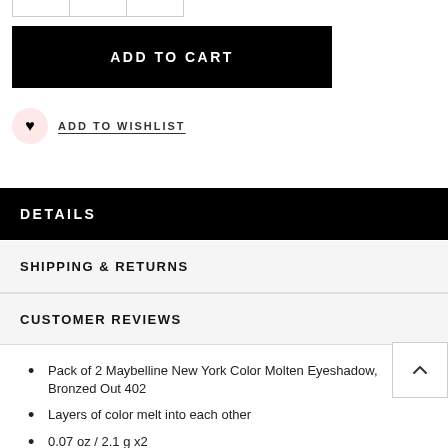[Figure (other): Partial view of a quantity selector with three cells at top of page]
ADD TO CART
ADD TO WISHLIST
DETAILS
SHIPPING & RETURNS
CUSTOMER REVIEWS
Pack of 2 Maybelline New York Color Molten Eyeshadow, Bronzed Out 402
Layers of color melt into each other
0.07 oz / 2.1 g x2
Made in Canada